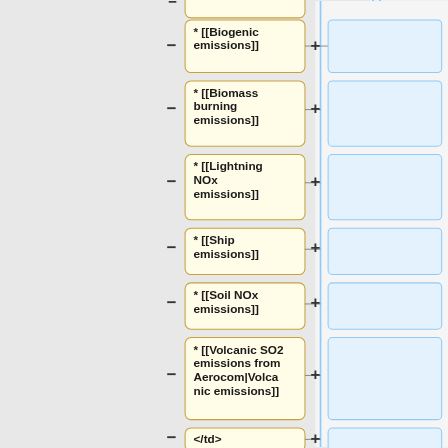[Figure (flowchart): Flowchart showing Wikipedia wiki-link entries for emission types: Biogenic emissions, Biomass burning emissions, Lightning NOx emissions, Ship emissions, Soil NOx emissions, Volcanic SO2 emissions from Aerocom|Volcanic emissions, and </td>. Each yellow node has a minus connector on the left and a plus connector on the right leading to a blue box.]